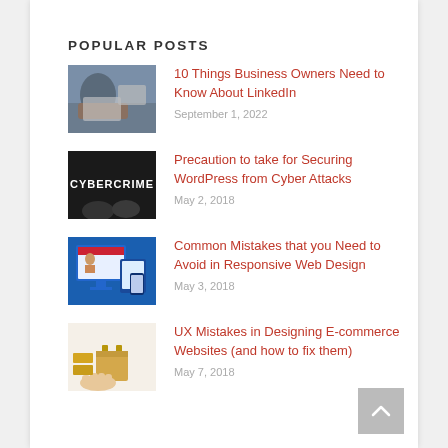POPULAR POSTS
10 Things Business Owners Need to Know About LinkedIn
September 1, 2022
Precaution to take for Securing WordPress from Cyber Attacks
May 2, 2018
Common Mistakes that you Need to Avoid in Responsive Web Design
May 3, 2018
UX Mistakes in Designing E-commerce Websites (and how to fix them)
May 7, 2018